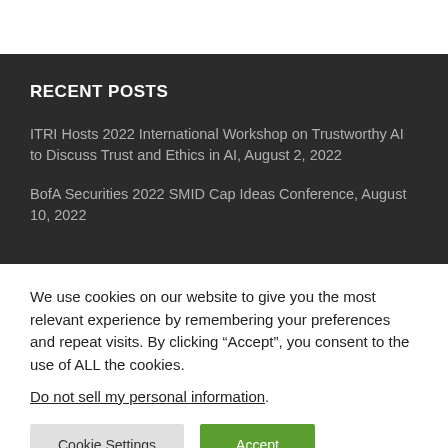RECENT POSTS
ITRI Hosts 2022 International Workshop on Trustworthy AI to Discuss Trust and Ethics in AI, August 2, 2022
BofA Securities 2022 SMID Cap Ideas Conference, August 10, 2022
We use cookies on our website to give you the most relevant experience by remembering your preferences and repeat visits. By clicking “Accept”, you consent to the use of ALL the cookies.
Do not sell my personal information.
Cookie Settings | Accept